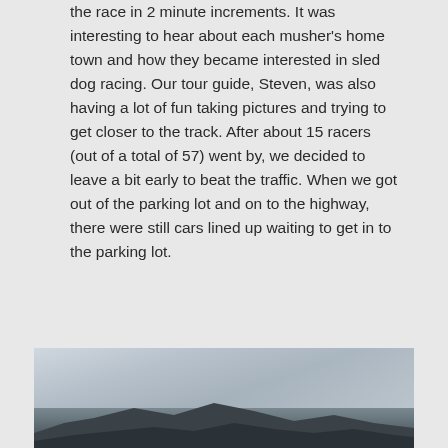the race in 2 minute increments. It was interesting to hear about each musher's home town and how they became interested in sled dog racing. Our tour guide, Steven, was also having a lot of fun taking pictures and trying to get closer to the track. After about 15 racers (out of a total of 57) went by, we decided to leave a bit early to beat the traffic. When we got out of the parking lot and on to the highway, there were still cars lined up waiting to get in to the parking lot.
[Figure (photo): A landscape photograph showing a dark silhouetted mountain or terrain in the lower portion against a cloudy, overcast sky with muted blue-grey tones.]